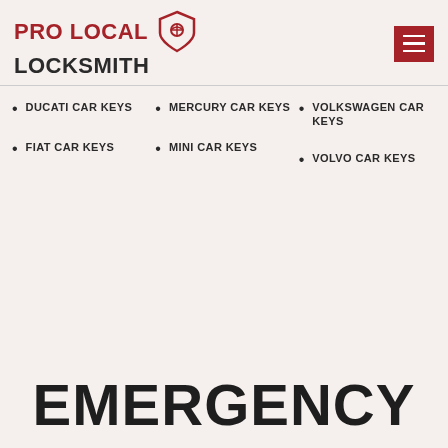PRO LOCAL LOCKSMITH
DUCATI CAR KEYS
MERCURY CAR KEYS
VOLKSWAGEN CAR KEYS
FIAT CAR KEYS
MINI CAR KEYS
VOLVO CAR KEYS
EMERGENCY